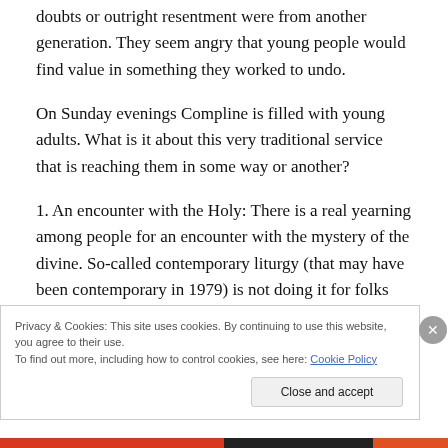doubts or outright resentment were from another generation.  They seem angry that young people would find value in something they worked to undo.
On Sunday evenings Compline is filled with young adults.  What is it about this very traditional service that is reaching them in some way or another?
1. An encounter with the Holy: There is a real yearning among people for an encounter with the mystery of the divine.  So-called contemporary liturgy (that may have been contemporary in 1979) is not doing it for folks that
Privacy & Cookies: This site uses cookies. By continuing to use this website, you agree to their use.
To find out more, including how to control cookies, see here: Cookie Policy
Close and accept